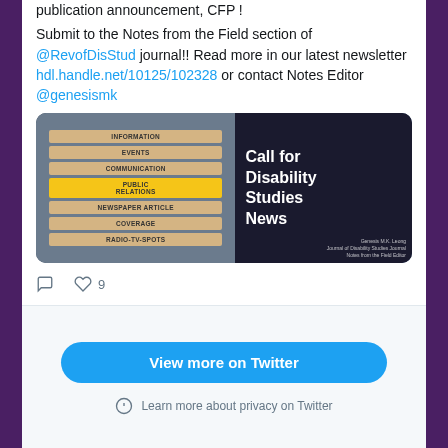publication announcement, CFP !
Submit to the Notes from the Field section of @RevofDisStud journal!! Read more in our latest newsletter hdl.handle.net/10125/102328 or contact Notes Editor @genesismk
[Figure (photo): Image showing stacked wooden blocks labeled INFORMATION, EVENTS, COMMUNICATION, PUBLIC RELATIONS (highlighted yellow), NEWSPAPER ARTICLE, COVERAGE, RADIO-TV-SPOTS, with text 'Call for Disability Studies News' on dark background, and a small portrait photo with name Genesis M.K. Leong, Notes from the Field Editor]
♡ 9
View more on Twitter
Learn more about privacy on Twitter